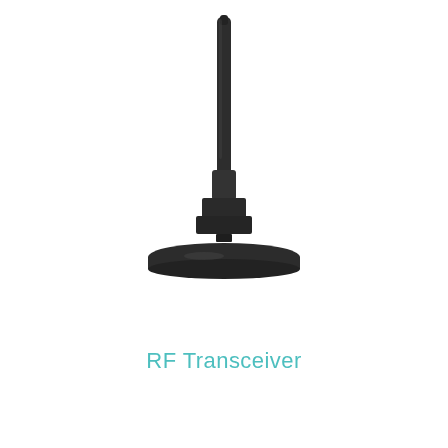[Figure (photo): A black RF transceiver device with a long thin antenna rod on top and a wide circular base, mounted on a stepped connector block. The device is shown against a white background.]
RF Transceiver